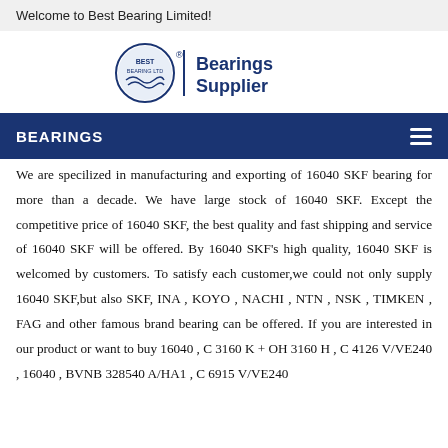Welcome to Best Bearing Limited!
[Figure (logo): Best Bearing Ltd logo with circular emblem and 'Bearings Supplier' text in dark blue]
BEARINGS
We are specilized in manufacturing and exporting of 16040 SKF bearing for more than a decade. We have large stock of 16040 SKF. Except the competitive price of 16040 SKF, the best quality and fast shipping and service of 16040 SKF will be offered. By 16040 SKF's high quality, 16040 SKF is welcomed by customers. To satisfy each customer,we could not only supply 16040 SKF,but also SKF, INA , KOYO , NACHI , NTN , NSK , TIMKEN , FAG and other famous brand bearing can be offered. If you are interested in our product or want to buy 16040 , C 3160 K + OH 3160 H , C 4126 V/VE240 , 16040 , BVNB 328540 A/HA1 , C 6915 V/VE240